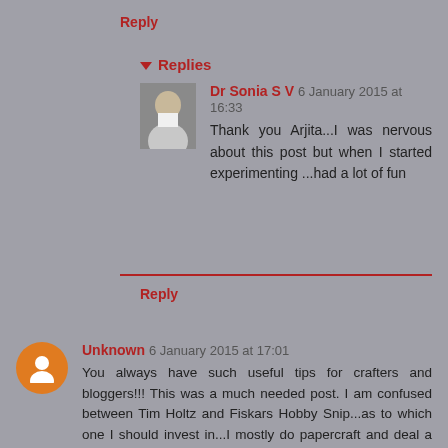Reply
▼ Replies
Dr Sonia S V 6 January 2015 at 16:33
Thank you Arjita...I was nervous about this post but when I started experimenting ...had a lot of fun
Reply
Unknown 6 January 2015 at 17:01
You always have such useful tips for crafters and bloggers!!! This was a much needed post. I am confused between Tim Holtz and Fiskars Hobby Snip...as to which one I should invest in...I mostly do papercraft and deal a lot with foam tape and self-adhesive tape...but the Fiskars Hobby Snip scissors are so tempting...What do you recommend Sonia?